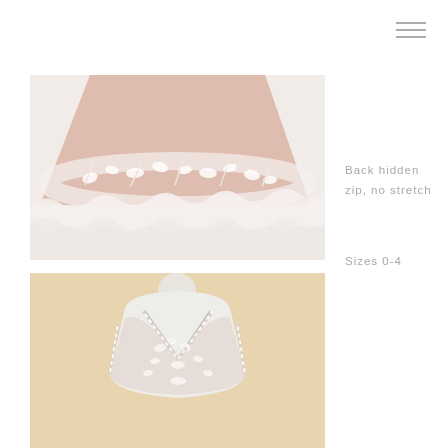[Figure (photo): Close-up of the hem of a blush/champagne lace dress with floral embroidery and ruffled lace trim at the bottom]
Back hidden zip, no stretch
Sizes 0-4
[Figure (photo): White dress form/mannequin torso wearing a blush lace wedding dress with deep V-neckline and decorative trim edging]